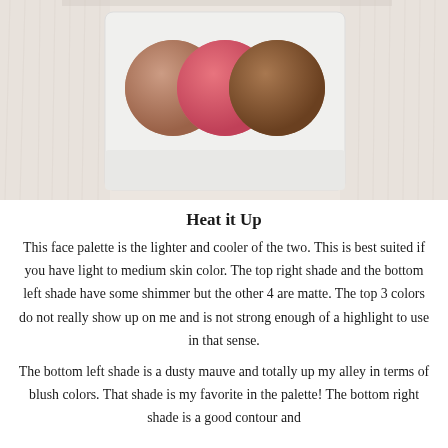[Figure (photo): A makeup face palette with three circular powder pans arranged in a row on a white fluffy rug. The pans from left to right are: a muted mauve-brown, a bright coral pink, and a warm medium brown. The palette has a light gray/white case.]
Heat it Up
This face palette is the lighter and cooler of the two. This is best suited if you have light to medium skin color. The top right shade and the bottom left shade have some shimmer but the other 4 are matte. The top 3 colors do not really show up on me and is not strong enough of a highlight to use in that sense.
The bottom left shade is a dusty mauve and totally up my alley in terms of blush colors. That shade is my favorite in the palette! The bottom right shade is a good contour and